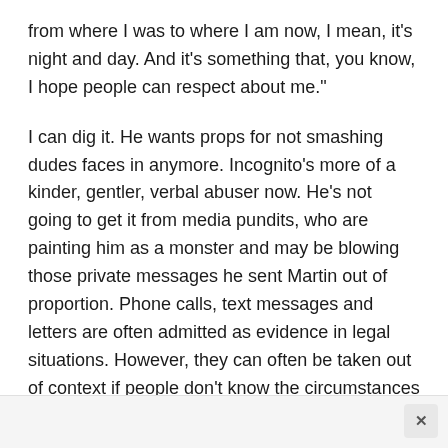from where I was to where I am now, I mean, it's night and day. And it's something that, you know, I hope people can respect about me."
I can dig it. He wants props for not smashing dudes faces in anymore. Incognito's more of a kinder, gentler, verbal abuser now. He's not going to get it from media pundits, who are painting him as a monster and may be blowing those private messages he sent Martin out of proportion. Phone calls, text messages and letters are often admitted as evidence in legal situations. However, they can often be taken out of context if people don't know the circumstances or environment they were produced in.